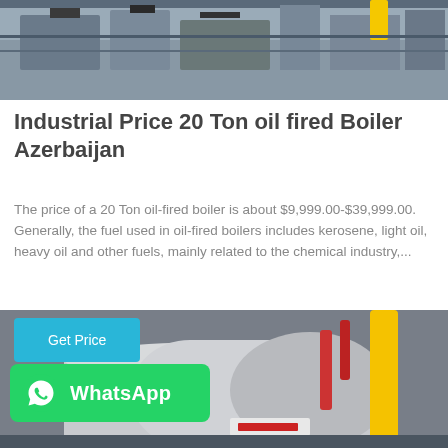[Figure (photo): Industrial machinery or boiler equipment in a factory setting, top portion of image visible]
Industrial Price 20 Ton oil fired Boiler Azerbaijan
The price of a 20 Ton oil-fired boiler is about $9,999.00-$39,999.00. Generally, the fuel used in oil-fired boilers includes kerosene, light oil, heavy oil and other fuels, mainly related to the chemical industry,...
[Figure (infographic): WhatsApp contact badge overlay on industrial boiler image]
[Figure (photo): Industrial oil-fired boiler equipment in factory, showing cylindrical boiler body with yellow pipe and red pipes]